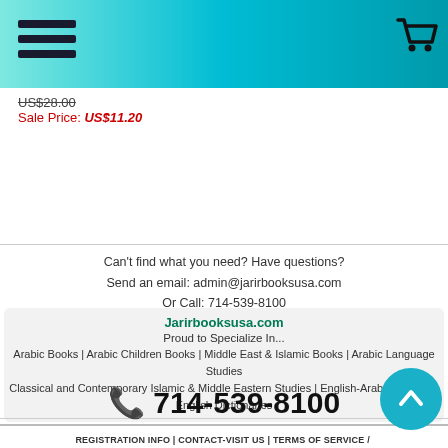Jarirbooksusa.com header navigation bar with hamburger menu and cart icon
US$28.00
Sale Price: US$11.20
Can't find what you need? Have questions?
Send an email: admin@jarirbooksusa.com
Or Call: 714-539-8100
Jarirbooksusa.com
Proud to Specialize In...
Arabic Books | Arabic Children Books | Middle East & Islamic Books | Arabic Language Studies
Classical and Contemporary Islamic & Middle Eastern Studies | English-Arabic & Arabic-English Dictionaries
📞 714-539-8100
REGISTRATION INFO | CONTACT-VISIT US | TERMS OF SERVICE / SHIPPING / DISCLAIMERS | PRIVACY | RETURN POLICY | IND... SCHOOL & LIBRARY SERVICES | CATALOG INFO | EGIFT CERTIFICATES |